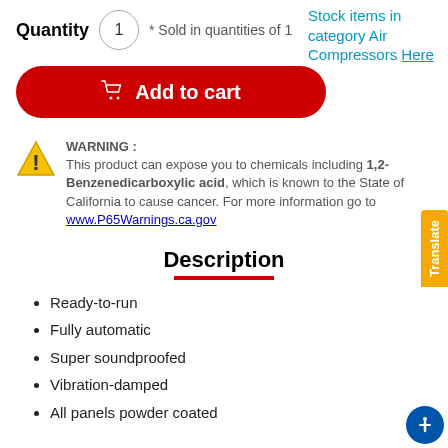Quantity 1 * Sold in quantities of 1
Stock items in category Air Compressors Here
[Figure (other): Red Add to cart button with shopping cart icon]
WARNING : This product can expose you to chemicals including 1,2-Benzenedicarboxylic acid, which is known to the State of California to cause cancer. For more information go to www.P65Warnings.ca.gov
Description
Ready-to-run
Fully automatic
Super soundproofed
Vibration-damped
All panels powder coated